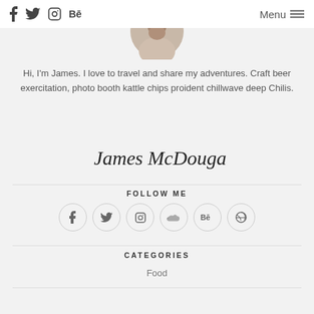f  Twitter  Instagram  Be   Menu
[Figure (photo): Partial circular profile photo of a person at the top of the page]
Hi, I'm James. I love to travel and share my adventures. Craft beer exercitation, photo booth kattle chips proident chillwave deep Chilis.
[Figure (illustration): Handwritten signature reading James McDougal]
FOLLOW ME
[Figure (infographic): Row of 6 social media icon circles: Facebook, Twitter, Instagram, SoundCloud, Behance, Dribbble]
CATEGORIES
Food